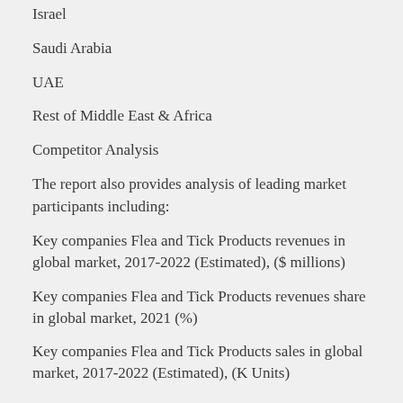Israel
Saudi Arabia
UAE
Rest of Middle East & Africa
Competitor Analysis
The report also provides analysis of leading market participants including:
Key companies Flea and Tick Products revenues in global market, 2017-2022 (Estimated), ($ millions)
Key companies Flea and Tick Products revenues share in global market, 2021 (%)
Key companies Flea and Tick Products sales in global market, 2017-2022 (Estimated), (K Units)